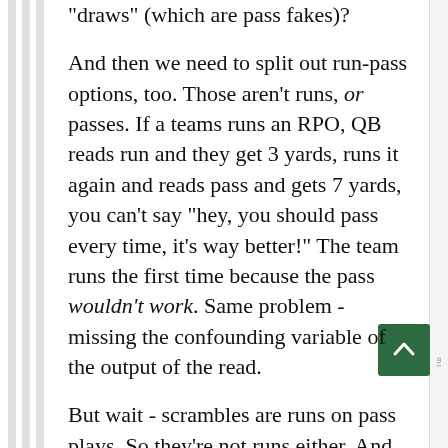"draws" (which are pass fakes)?
And then we need to split out run-pass options, too. Those aren't runs, or passes. If a teams runs an RPO, QB reads run and they get 3 yards, runs it again and reads pass and gets 7 yards, you can't say "hey, you should pass every time, it's way better!" The team runs the first time because the pass wouldn't work. Same problem - missing the confounding variable of the output of the read.
But wait - scrambles are runs on pass plays. So they're not runs either. And screens are pass plays blocked like runs. So what the hell are they?